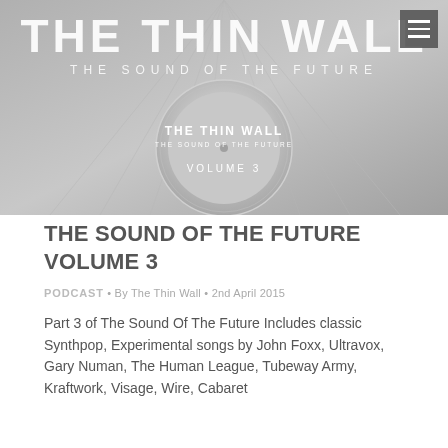[Figure (illustration): Hero banner image for 'The Thin Wall - The Sound of the Future' podcast. Gray/silver background with large white text 'THE THIN WALL' and subtitle 'THE SOUND OF THE FUTURE'. A circular vinyl record label design in the center reads 'THE THIN WALL / THE SOUND OF THE FUTURE / VOLUME 3'. A hamburger menu icon appears in the top-right corner.]
THE SOUND OF THE FUTURE VOLUME 3
PODCAST • By The Thin Wall • 2nd April 2015
Part 3 of The Sound Of The Future Includes classic Synthpop, Experimental songs by John Foxx, Ultravox, Gary Numan, The Human League, Tubeway Army, Kraftwork, Visage, Wire, Cabaret